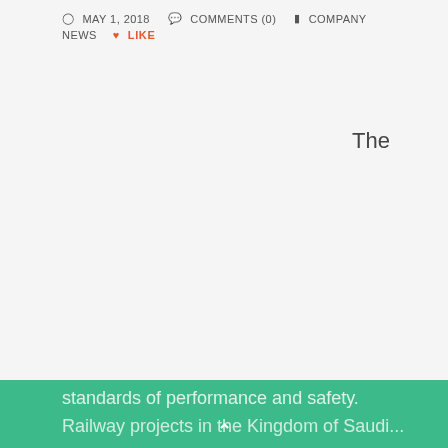MAY 1, 2018   COMMENTS (0)   COMPANY NEWS   LIKE
The
Saudi Railways Company (SAR) was founded in 2006 by the Public Investments Fund (PIF) in order to implement a railway project linking the northern region with both the eastern and central regions of the Kingdom, including the operation and management of the project with the necessary competence in accordance with optimal economic operating parameters, through applying state-of-the-art global standards of performance and safety. Railway projects in the Kingdom of Saudi...